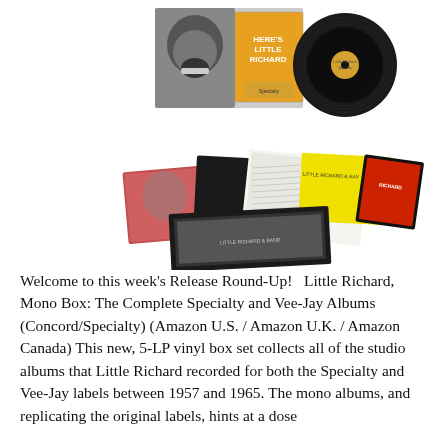[Figure (photo): Product photo of the Little Richard Mono Box set showing a vinyl box set with 'Here's Little Richard' album cover, a black vinyl record, and several album covers and sleeves spread out]
Welcome to this week's Release Round-Up!   Little Richard, Mono Box: The Complete Specialty and Vee-Jay Albums (Concord/Specialty) (Amazon U.S. / Amazon U.K. / Amazon Canada) This new, 5-LP vinyl box set collects all of the studio albums that Little Richard recorded for both the Specialty and Vee-Jay labels between 1957 and 1965. The mono albums, and replicating the original labels, hints at a dose